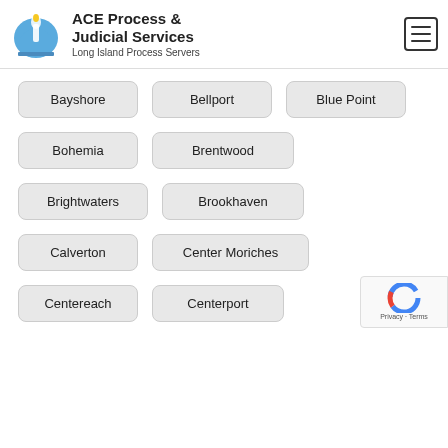ACE Process & Judicial Services — Long Island Process Servers
Bayshore
Bellport
Blue Point
Bohemia
Brentwood
Brightwaters
Brookhaven
Calverton
Center Moriches
Centereach
Centerport